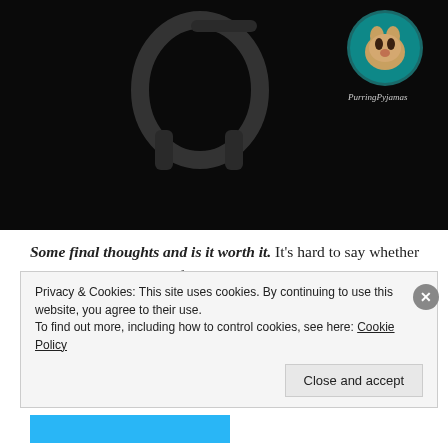[Figure (photo): Dark background image with headphones visible and a circular avatar of a cat (Sphynx breed) in the top right corner with text 'PurringPyjamas' below the avatar circle.]
Some final thoughts and is it worth it. It's hard to say whether it's worth it or not. All of my cats didn't understand it, but maybe they're just not very smart, haha! 😀 It was only €4, so I don't feel robbed, and, well, cats are beings that are very picky in general. It did not work for my cats at all, but it MAY work for your cat. Or
Privacy & Cookies: This site uses cookies. By continuing to use this website, you agree to their use.
To find out more, including how to control cookies, see here: Cookie Policy
Close and accept